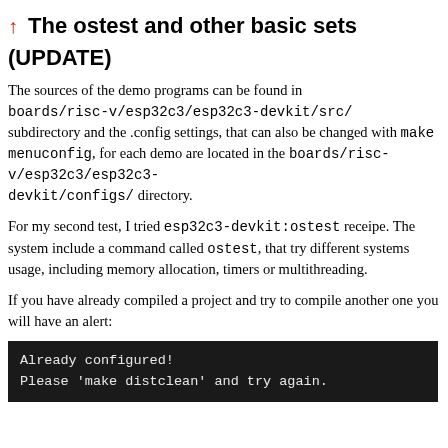↑ The ostest and other basic sets (UPDATE)
The sources of the demo programs can be found in boards/risc-v/esp32c3/esp32c3-devkit/src/ subdirectory and the .config settings, that can also be changed with make menuconfig, for each demo are located in the boards/risc-v/esp32c3/esp32c3-devkit/configs/ directory.
For my second test, I tried esp32c3-devkit:ostest receipe. The system include a command called ostest, that try different systems usage, including memory allocation, timers or multithreading.
If you have already compiled a project and try to compile another one you will have an alert:
[Figure (screenshot): Terminal output showing: Already configured! Please 'make distclean' and try again.]